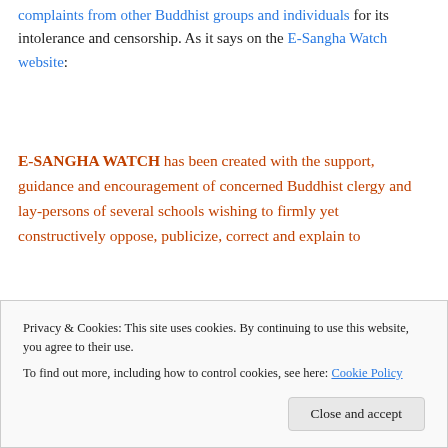complaints from other Buddhist groups and individuals for its intolerance and censorship. As it says on the E-Sangha Watch website:
E-SANGHA WATCH has been created with the support, guidance and encouragement of concerned Buddhist clergy and lay-persons of several schools wishing to firmly yet constructively oppose, publicize, correct and explain to the...
Privacy & Cookies: This site uses cookies. By continuing to use this website, you agree to their use.
To find out more, including how to control cookies, see here: Cookie Policy
[Close and accept]